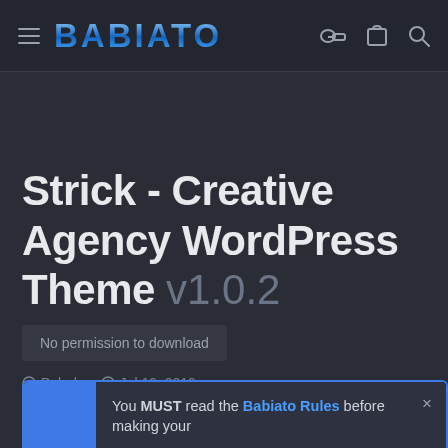BABIATO
Strick - Creative Agency WordPress Theme v1.0.2
No permission to download
Babak · Jul 19, 2019
You MUST read the Babiato Rules before making your